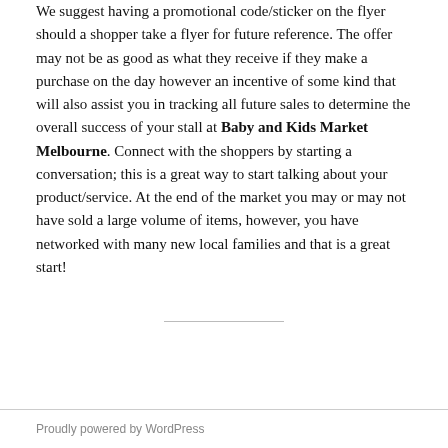We suggest having a promotional code/sticker on the flyer should a shopper take a flyer for future reference. The offer may not be as good as what they receive if they make a purchase on the day however an incentive of some kind that will also assist you in tracking all future sales to determine the overall success of your stall at Baby and Kids Market Melbourne. Connect with the shoppers by starting a conversation; this is a great way to start talking about your product/service. At the end of the market you may or may not have sold a large volume of items, however, you have networked with many new local families and that is a great start!
Proudly powered by WordPress